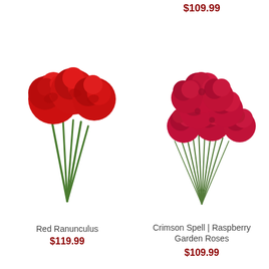$109.99
[Figure (photo): Red Ranunculus flowers bunch with green stems on white background]
Red Ranunculus
$119.99
[Figure (photo): Crimson Spell Raspberry Garden Roses bunch with green stems on white background]
Crimson Spell | Raspberry Garden Roses
$109.99